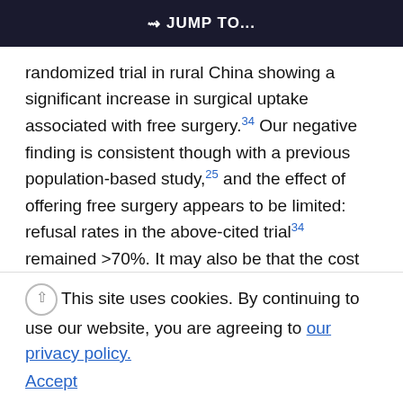JUMP TO...
randomized trial in rural China showing a significant increase in surgical uptake associated with free surgery.34 Our negative finding is consistent though with a previous population-based study,25 and the effect of offering free surgery appears to be limited: refusal rates in the above-cited trial34 remained >70%. It may also be that the cost of cataract surgery is sufficiently heavily subsidized by the government rural health insurance scheme (the New Rural Cooperative Medical System, NCMS) to reduce the
impact of surgical cost on uptake. All of the hospitals in the current survey participated in NCMS, as is typical of rural government facilities in China, and the median reimbursement rate was 67%, leaving a
This site uses cookies. By continuing to use our website, you are agreeing to our privacy policy. Accept